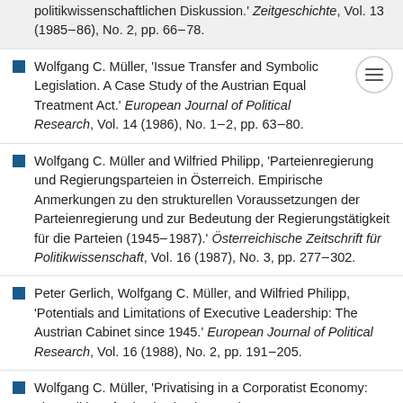politikwissenschaftlichen Diskussion.' Zeitgeschichte, Vol. 13 (1985–86), No. 2, pp. 66–78.
Wolfgang C. Müller, 'Issue Transfer and Symbolic Legislation. A Case Study of the Austrian Equal Treatment Act.' European Journal of Political Research, Vol. 14 (1986), No. 1–2, pp. 63–80.
Wolfgang C. Müller and Wilfried Philipp, 'Parteienregierung und Regierungsparteien in Österreich. Empirische Anmerkungen zu den strukturellen Voraussetzungen der Parteienregierung und zur Bedeutung der Regierungstätigkeit für die Parteien (1945–1987).' Österreichische Zeitschrift für Politikwissenschaft, Vol. 16 (1987), No. 3, pp. 277–302.
Peter Gerlich, Wolfgang C. Müller, and Wilfried Philipp, 'Potentials and Limitations of Executive Leadership: The Austrian Cabinet since 1945.' European Journal of Political Research, Vol. 16 (1988), No. 2, pp. 191–205.
Wolfgang C. Müller, 'Privatising in a Corporatist Economy: The Politics of Privatisation in Austria.' West European